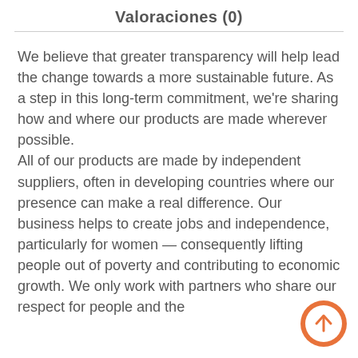Valoraciones (0)
We believe that greater transparency will help lead the change towards a more sustainable future. As a step in this long-term commitment, we're sharing how and where our products are made wherever possible. All of our products are made by independent suppliers, often in developing countries where our presence can make a real difference. Our business helps to create jobs and independence, particularly for women — consequently lifting people out of poverty and contributing to economic growth. We only work with partners who share our respect for people and the